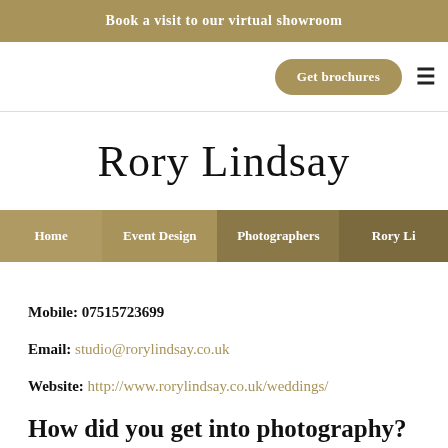Book a visit to our virtual showroom
Get brochures
Rory Lindsay
Home | Event Design | Photographers | Rory Li
Mobile: 07515723699
Email: studio@rorylindsay.co.uk
Website: http://www.rorylindsay.co.uk/weddings/
How did you get into photography?